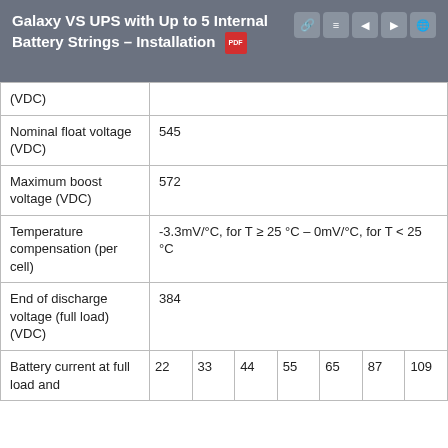Galaxy VS UPS with Up to 5 Internal Battery Strings – Installation
| Parameter | Value |
| --- | --- |
| (VDC) |  |
| Nominal float voltage (VDC) | 545 |
| Maximum boost voltage (VDC) | 572 |
| Temperature compensation (per cell) | -3.3mV/°C, for T ≥ 25 °C – 0mV/°C, for T < 25 °C |
| End of discharge voltage (full load) (VDC) | 384 |
| Battery current at full load and | 22 | 33 | 44 | 55 | 65 | 87 | 109 |